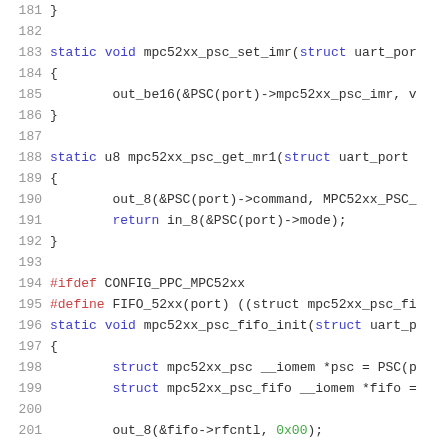[Figure (screenshot): Source code listing showing C functions for MPC52xx PSC driver, lines 181-201, with syntax highlighting. Keywords in blue, preprocessor directives in red, numeric literals in green.]